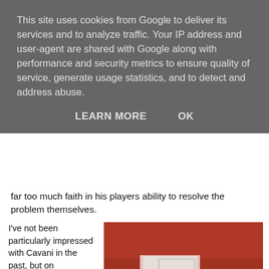This site uses cookies from Google to deliver its services and to analyze traffic. Your IP address and user-agent are shared with Google along with performance and security metrics to ensure quality of service, generate usage statistics, and to detect and address abuse.
LEARN MORE   OK
far too much faith in his players ability to resolve the problem themselves.
I've not been particularly impressed with Cavani in the past, but on Wednesday night he suddenly looked transformed into a world-beater, leaving Mustafi and Koscielny for...
[Figure (photo): Football players on a pitch during a Champions League match, with crowds in the stands. Advertising boards show UniCredit and other sponsors. Players in white and dark kits visible on the green pitch.]
Cavani came, saw and conquered